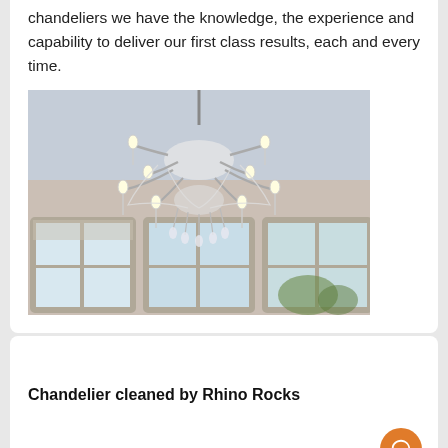chandeliers we have the knowledge, the experience and capability to deliver our first class results, each and every time.
[Figure (photo): A large ornate crystal chandelier hanging from a ceiling in a bright room with windows]
Chandelier cleaned by Rhino Rocks